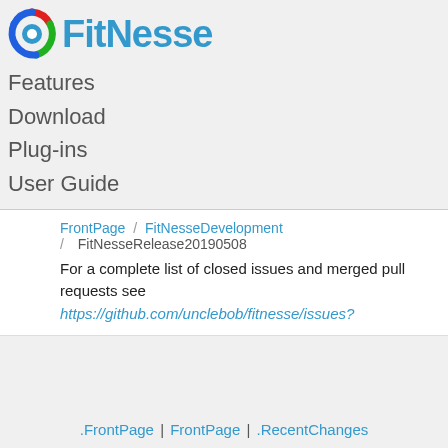[Figure (logo): FitNesse logo with circular gear/arrow icon in red, green, blue and bold blue text 'FitNesse']
Features
Download
Plug-ins
User Guide
FrontPage / FitNesseDevelopment / FitNesseRelease20190508
For a complete list of closed issues and merged pull requests see https://github.com/unclebob/fitnesse/issues?
.FrontPage | FrontPage | .RecentChanges